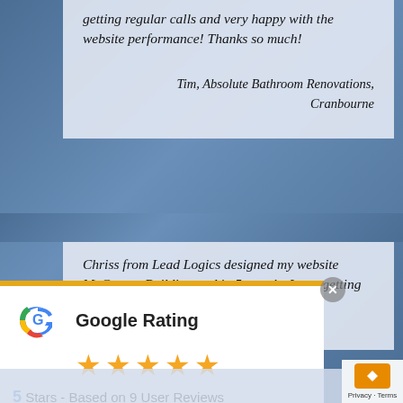getting regular calls and very happy with the website performance! Thanks so much!
Tim, Absolute Bathroom Renovations, Cranbourne
Chriss from Lead Logics designed my website McGregor Building and in 5 months I was getting calls for building...
[Figure (infographic): Google Rating widget showing 5 gold stars and the text '5 Stars - Based on 9 User Reviews' with the Google G logo]